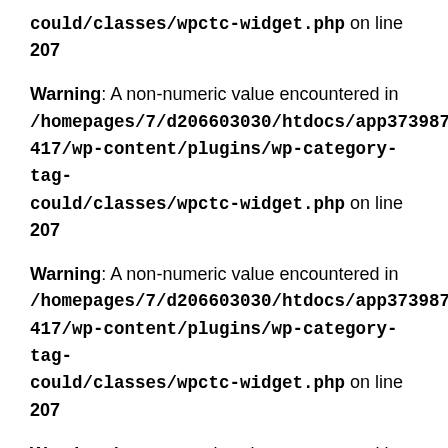could/classes/wpctc-widget.php on line 207
Warning: A non-numeric value encountered in /homepages/7/d206603030/htdocs/app373987417/wp-content/plugins/wp-category-tag-could/classes/wpctc-widget.php on line 207
Warning: A non-numeric value encountered in /homepages/7/d206603030/htdocs/app373987417/wp-content/plugins/wp-category-tag-could/classes/wpctc-widget.php on line 207
Warning: A non-numeric value encountered in /homepages/7/d206603030/htdocs/app373987417/wp-content/plugins/wp-category-tag-could/classes/wpctc-widget.php on line 207
Warning: A non-numeric value encountered in